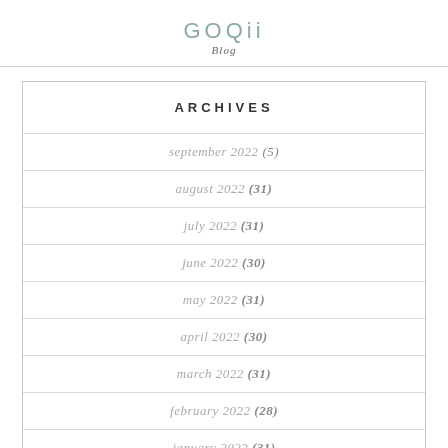GOQii Blog
ARCHIVES
september 2022 (5)
august 2022 (31)
july 2022 (31)
june 2022 (30)
may 2022 (31)
april 2022 (30)
march 2022 (31)
february 2022 (28)
january 2022 (31)